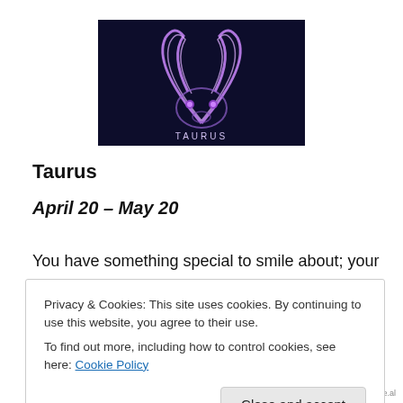[Figure (illustration): A glowing purple/violet Taurus bull symbol on a dark navy background, with the word TAURUS at the bottom in white letters. The bull has glowing horns and eyes rendered in neon purple light.]
Taurus
April 20 – May 20
You have something special to smile about; your
Privacy & Cookies: This site uses cookies. By continuing to use this website, you agree to their use.
To find out more, including how to control cookies, see here: Cookie Policy